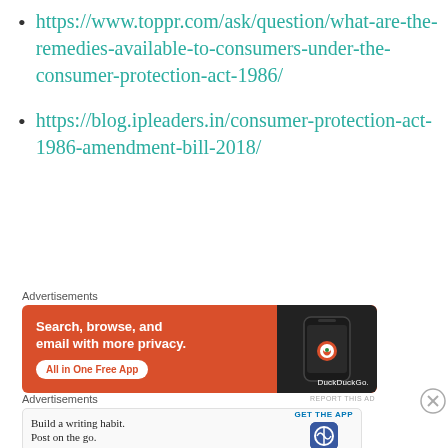https://www.toppr.com/ask/question/what-are-the-remedies-available-to-consumers-under-the-consumer-protection-act-1986/
https://blog.ipleaders.in/consumer-protection-act-1986-amendment-bill-2018/
Advertisements
[Figure (screenshot): DuckDuckGo advertisement banner: orange background with text 'Search, browse, and email with more privacy. All in One Free App' and a phone image showing DuckDuckGo app]
Advertisements
[Figure (screenshot): WordPress advertisement: 'Build a writing habit. Post on the go.' with GET THE APP button and WordPress logo]